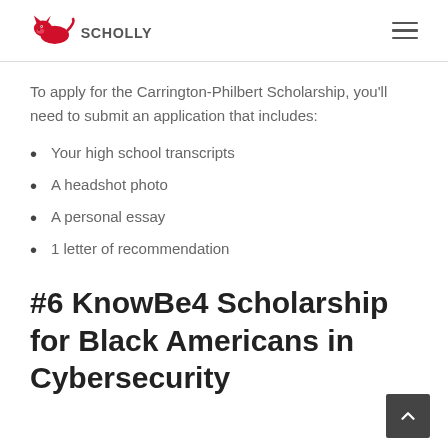SCHOLLY
To apply for the Carrington-Philbert Scholarship, you'll need to submit an application that includes:
Your high school transcripts
A headshot photo
A personal essay
1 letter of recommendation
#6 KnowBe4 Scholarship for Black Americans in Cybersecurity